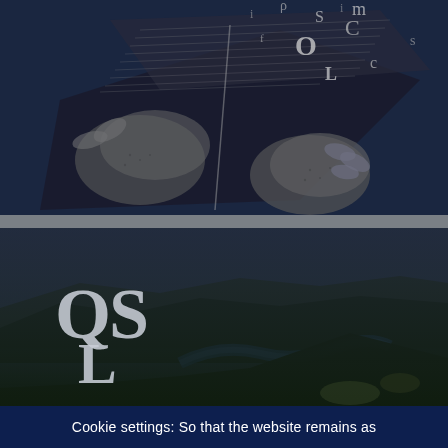[Figure (illustration): Black and white engraving-style illustration of hands holding an open book, with letters and symbols flying out of it, set against a dark navy background.]
[Figure (photo): Dark landscape photograph of a river valley with hills and dramatic sky, overlaid with large 'QS' and 'L' letters in a light silver/white serif font.]
Cookie settings: So that the website remains as